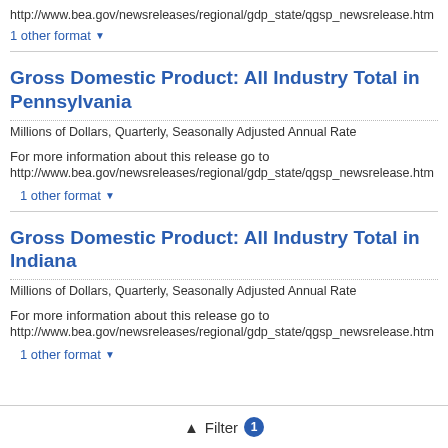http://www.bea.gov/newsreleases/regional/gdp_state/qgsp_newsrelease.htm
1 other format ▾
Gross Domestic Product: All Industry Total in Pennsylvania
Millions of Dollars, Quarterly, Seasonally Adjusted Annual Rate
For more information about this release go to
http://www.bea.gov/newsreleases/regional/gdp_state/qgsp_newsrelease.htm
1 other format ▾
Gross Domestic Product: All Industry Total in Indiana
Millions of Dollars, Quarterly, Seasonally Adjusted Annual Rate
For more information about this release go to
http://www.bea.gov/newsreleases/regional/gdp_state/qgsp_newsrelease.htm
1 other format ▾
Filter 1